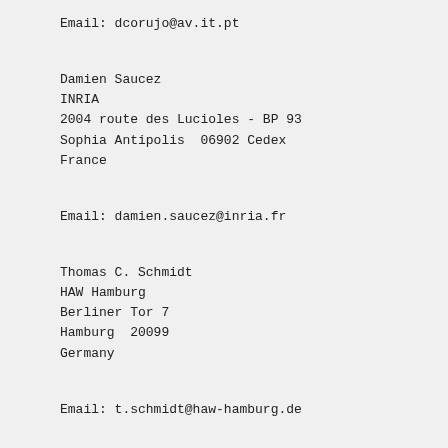Email: dcorujo@av.it.pt
Damien Saucez
INRIA
2004 route des Lucioles - BP 93
Sophia Antipolis  06902 Cedex
France
Email: damien.saucez@inria.fr
Thomas C. Schmidt
HAW Hamburg
Berliner Tor 7
Hamburg  20099
Germany
Email: t.schmidt@haw-hamburg.de
Matthias Waehlisch
FU Berlin
Takustr. 9
Berlin  14195
Germany